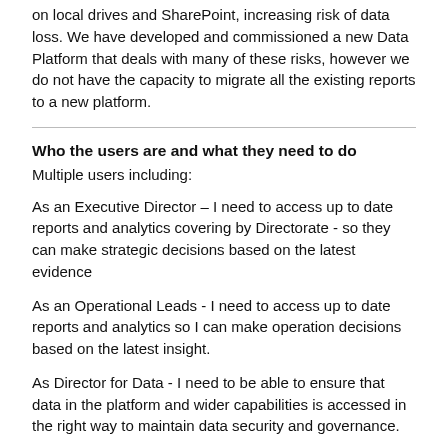on local drives and SharePoint, increasing risk of data loss. We have developed and commissioned a new Data Platform that deals with many of these risks, however we do not have the capacity to migrate all the existing reports to a new platform.
Who the users are and what they need to do
Multiple users including:
As an Executive Director – I need to access up to date reports and analytics covering by Directorate - so they can make strategic decisions based on the latest evidence
As an Operational Leads - I need to access up to date reports and analytics so I can make operation decisions based on the latest insight.
As Director for Data - I need to be able to ensure that data in the platform and wider capabilities is accessed in the right way to maintain data security and governance.
As a Data Analysts within a service team is need to be able to